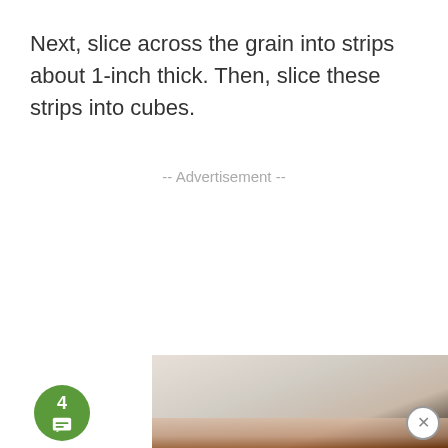Next, slice across the grain into strips about 1-inch thick. Then, slice these strips into cubes.
-- Advertisement --
[Figure (photo): Photo of cooked meat/food partially visible at bottom of page, with a light beige cutting board surface and dark background in corner, and a lower portion showing reddish-brown cooked meat cubes.]